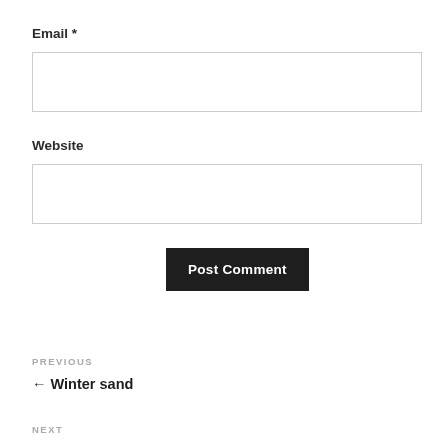Email *
Website
Post Comment
PREVIOUS
← Winter sand
NEXT